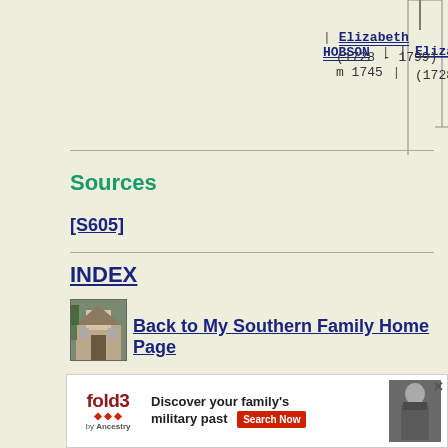[Figure (other): Genealogy chart fragment showing Elizabeth HOBSON (1728 - 1799) m 1745 with connector lines]
Sources
[S605]
INDEX
[Figure (photo): Small photo of a Southern house/plantation building]
Back to My Southern Family Home Page
EMAIL
© 1995, 1997, 1998, 2000. Josephine Lindsay Bass and Bec...
[Figure (other): Fold3 by Ancestry advertisement banner - Discover your family's military past Search Now]